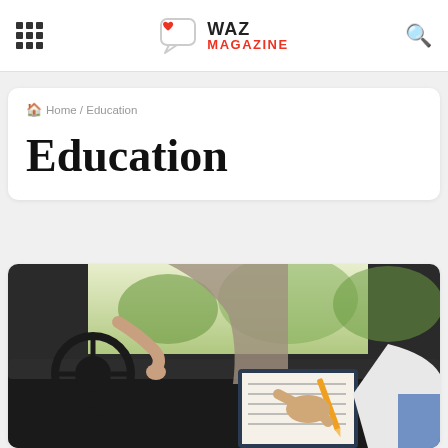WAZ MAGAZINE
Home / Education
Education
[Figure (photo): A driving lesson scene inside a car: a student driver holds the steering wheel while an instructor in the passenger seat holds a clipboard and pencil, evaluating the student. Taken from behind with natural outdoor light through the windshield.]